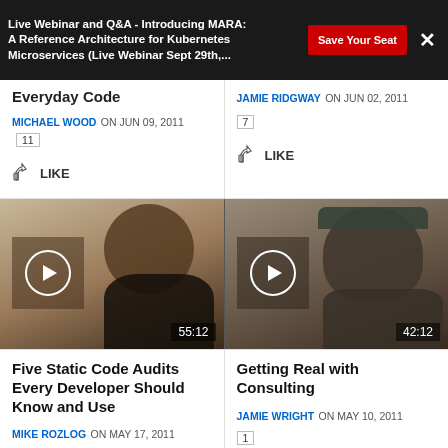Live Webinar and Q&A - Introducing MARA: A Reference Architecture for Kubernetes Microservices (Live Webinar Sept 29th,...
Everyday Code
MICHAEL WOOD ON JUN 09, 2011  11
LIKE
JAMIE RIDGWAY ON JUN 02, 2011  7
LIKE
[Figure (photo): Video thumbnail of a bearded man, play button overlay, duration 55:12]
[Figure (photo): Video thumbnail of a man with cap, play button overlay, duration 42:12]
Five Static Code Audits Every Developer Should Know and Use
Getting Real with Consulting
MIKE ROZLOG ON MAY 17, 2011
LIKE
JAMIE WRIGHT ON MAY 10, 2011  1
LIKE
[Figure (photo): Partial video thumbnail bottom left]
[Figure (photo): Partial video thumbnail bottom right]